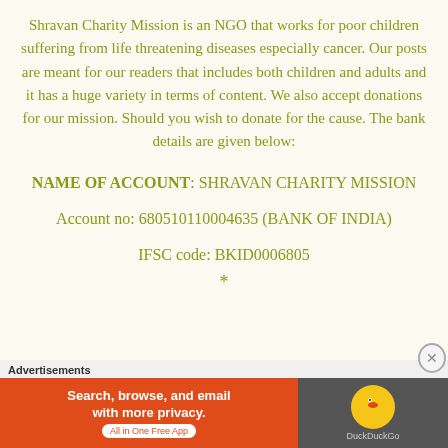Shravan Charity Mission is an NGO that works for poor children suffering from life threatening diseases especially cancer. Our posts are meant for our readers that includes both children and adults and it has a huge variety in terms of content. We also accept donations for our mission. Should you wish to donate for the cause. The bank details are given below:
NAME OF ACCOUNT: SHRAVAN CHARITY MISSION
Account no: 680510110004635 (BANK OF INDIA)
IFSC code: BKID0006805
*
Advertisements
[Figure (other): DuckDuckGo advertisement banner: orange left panel with text 'Search, browse, and email with more privacy. All in One Free App' and dark right panel with DuckDuckGo duck logo]